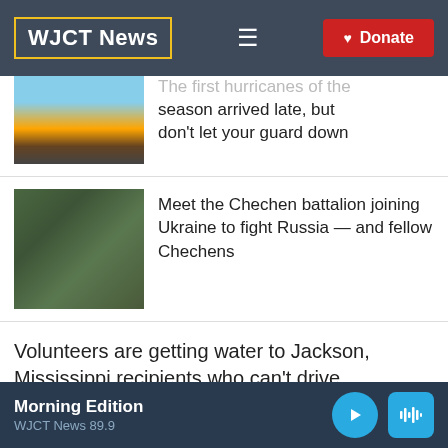WJCT News
The first hurricanes of the season arrived late, but don't let your guard down
Meet the Chechen battalion joining Ukraine to fight Russia — and fellow Chechens
Volunteers are getting water to Jackson, Mississippi recipients who can't drive
Morning Edition WJCT News 89.9